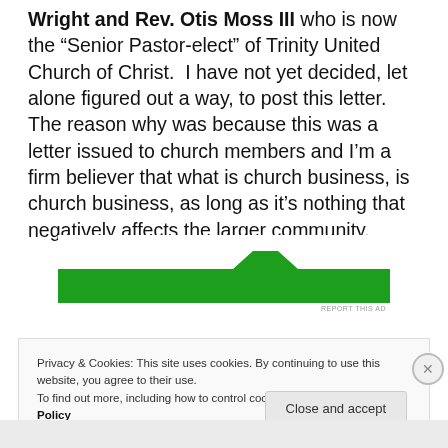Wright and Rev. Otis Moss III who is now the "Senior Pastor-elect" of Trinity United Church of Christ.  I have not yet decided, let alone figured out a way, to post this letter.  The reason why was because this was a letter issued to church members and I'm a firm believer that what is church business, is church business, as long as it's nothing that negatively affects the larger community.
[Figure (other): Green advertisement banner with white notch cutouts at top]
REPORT THIS AD
Privacy & Cookies: This site uses cookies. By continuing to use this website, you agree to their use.
To find out more, including how to control cookies, see here: Cookie Policy
Close and accept